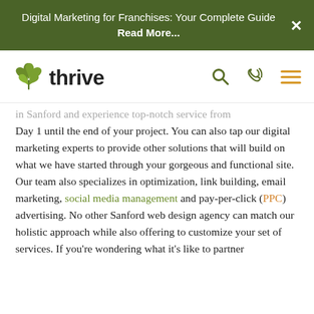Digital Marketing for Franchises: Your Complete Guide Read More...
[Figure (logo): Thrive logo with green leaf/plant icon and 'thrive' wordmark in dark text, with search, phone, and hamburger menu icons on the right]
in Sanford and experience top-notch service from Day 1 until the end of your project. You can also tap our digital marketing experts to provide other solutions that will build on what we have started through your gorgeous and functional site. Our team also specializes in optimization, link building, email marketing, social media management and pay-per-click (PPC) advertising. No other Sanford web design agency can match our holistic approach while also offering to customize your set of services. If you're wondering what it's like to partner